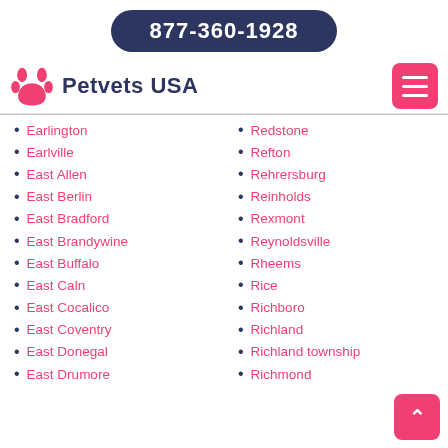877-360-1928
Petvets USA
Earlington
Earlville
East Allen
East Berlin
East Bradford
East Brandywine
East Buffalo
East Caln
East Cocalico
East Coventry
East Donegal
East Drumore
Redstone
Refton
Rehrersburg
Reinholds
Rexmont
Reynoldsville
Rheems
Rice
Richboro
Richland
Richland township
Richmond